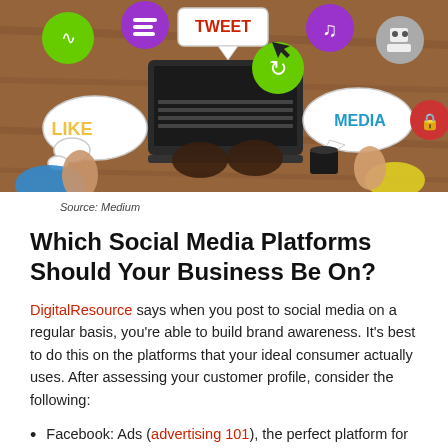[Figure (photo): Overhead photo of people working on a laptop surrounded by social media speech bubbles with icons including LIKE, TWEET, MEDIA, music note, refresh, robot, wifi, and lock icons on a wooden table background.]
Source: Medium
Which Social Media Platforms Should Your Business Be On?
DigitalResource says when you post to social media on a regular basis, you're able to build brand awareness. It's best to do this on the platforms that your ideal consumer actually uses. After assessing your customer profile, consider the following:
Facebook: Ads (advertising 101), the perfect platform for